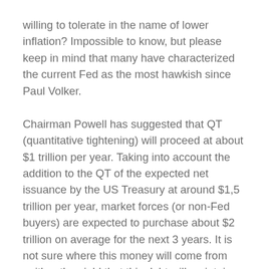willing to tolerate in the name of lower inflation? Impossible to know, but please keep in mind that many have characterized the current Fed as the most hawkish since Paul Volker.
Chairman Powell has suggested that QT (quantitative tightening) will proceed at about $1 trillion per year. Taking into account the addition to the QT of the expected net issuance by the US Treasury at around $1,5 trillion per year, market forces (or non-Fed buyers) are expected to purchase about $2 trillion on average for the next 3 years. It is not sure where this money will come from neither the yield that this debt will maintain.
So, as bad as the bond market seems at the